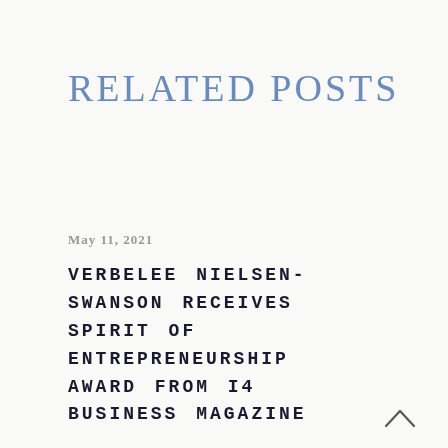RELATED POSTS
May 11, 2021
VERBELEE NIELSEN-SWANSON RECEIVES SPIRIT OF ENTREPRENEURSHIP AWARD FROM I4 BUSINESS MAGAZINE